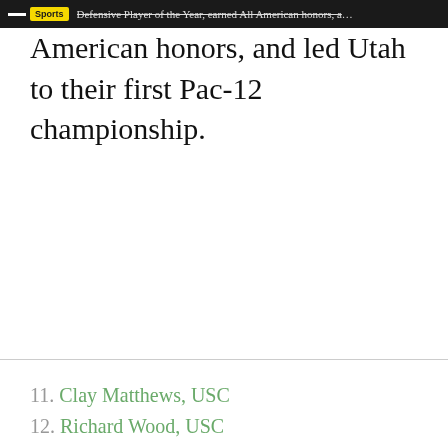Sports — Defensive Player of the Year, earned All American honors, and led Utah to their first Pac-12 championship.
Defensive Player of the Year, earned All American honors, and led Utah to their first Pac-12 championship.
11. Clay Matthews, USC
12. Richard Wood, USC